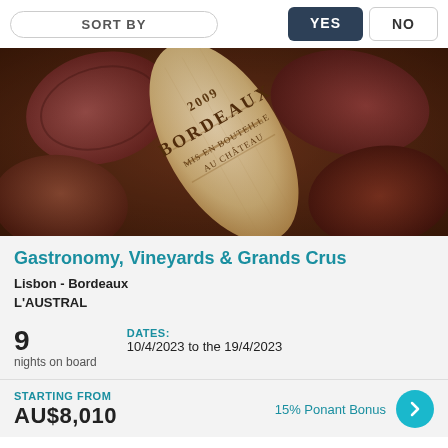SORT BY
YES
NO
[Figure (photo): Close-up photo of wine corks, with a prominent cork in the center labeled '2009 BORDEAUX MIS EN BOUTEILLE AU CHATEAU']
Gastronomy, Vineyards & Grands Crus
Lisbon - Bordeaux
L'AUSTRAL
9 nights on board
DATES: 10/4/2023 to the 19/4/2023
STARTING FROM AU$8,010
15% Ponant Bonus